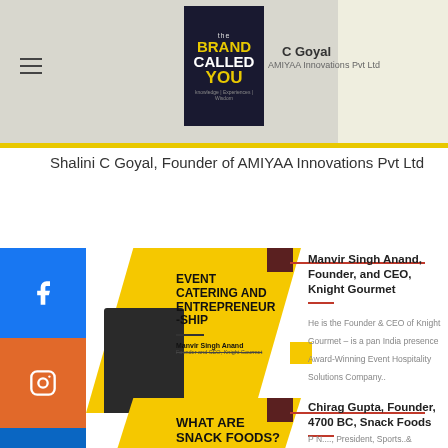[Figure (screenshot): Website header with The Brand Called You logo and navigation]
Shalini C Goyal, Founder of AMIYAA Innovations Pvt Ltd
[Figure (infographic): Event Catering and Entrepreneurship card with Manvir Singh Anand photo]
Manvir Singh Anand, Founder, and CEO, Knight Gourmet
He is the Founder & CEO of Knight Gourmet – is a pan India presence Award-Winning Event Hospitality Solutions Company..
[Figure (infographic): What Are Snack Foods card with Chirag Gupta photo]
Chirag Gupta, Founder, 4700 BC, Snack Foods
'We are often asked the story behind our particular name. Well, the oldest evidence of popcorn was found in the ancient caves of Peru..